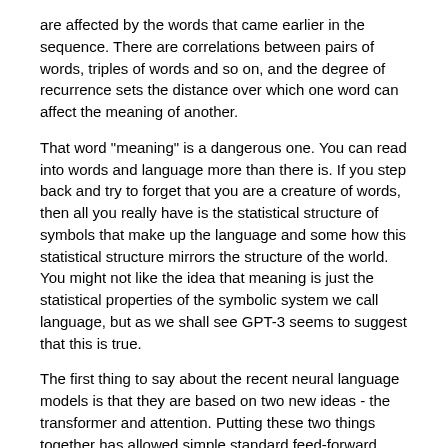are affected by the words that came earlier in the sequence. There are correlations between pairs of words, triples of words and so on, and the degree of recurrence sets the distance over which one word can affect the meaning of another.
That word "meaning" is a dangerous one. You can read into words and language more than there is. If you step back and try to forget that you are a creature of words, then all you really have is the statistical structure of symbols that make up the language and some how this statistical structure mirrors the structure of the world. You might not like the idea that meaning is just the statistical properties of the symbolic system we call language, but as we shall see GPT-3 seems to suggest that this is true.
The first thing to say about the recent neural language models is that they are based on two new ideas - the transformer and attention. Putting these two things together has allowed simple standard feed-forward networks to be used. Abandoning the recurrent network simplifies things so much that we can train faster and hence use much bigger datasets.
The GPT series of models uses transformers and attention networks in a fairly standard way. GPT-2 had 1.5 billion adjustable parameters and it performed well, but not spectacularly well. So OpenAI took a leap of faith and implemented GPT-3 with 175 billion parameters and trained it on a huge dataset. GPT-3 is an order of magnitude bigger than anything before this in the area of AI...